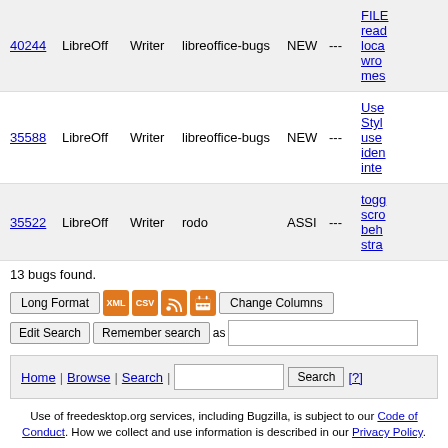| ID | Product | Component | Assignee | Status | Resolution | Summary |
| --- | --- | --- | --- | --- | --- | --- |
| 40244 | LibreOff | Writer | libreoffice-bugs | NEW | --- | FILE read loca wro mes |
| 35588 | LibreOff | Writer | libreoffice-bugs | NEW | --- | Use Styl use iden inte |
| 35522 | LibreOff | Writer | rodo | ASSI | --- | togg scro beh stra |
13 bugs found.
Long Format | XML | CSV | RSS | Calendar | Change Columns | Edit Search | Remember search as
Home | Browse | Search | [Search] [?]
Use of freedesktop.org services, including Bugzilla, is subject to our Code of Conduct. How we collect and use information is described in our Privacy Policy.